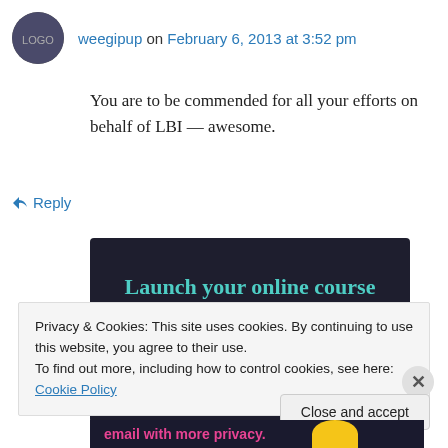weegipup on February 6, 2013 at 3:52 pm
You are to be commended for all your efforts on behalf of LBI — awesome.
↳ Reply
[Figure (illustration): Dark-background advertisement banner: 'Launch your online course with WordPress' with a teal 'Learn More' button]
Privacy & Cookies: This site uses cookies. By continuing to use this website, you agree to their use.
To find out more, including how to control cookies, see here: Cookie Policy
Close and accept
email with more privacy.